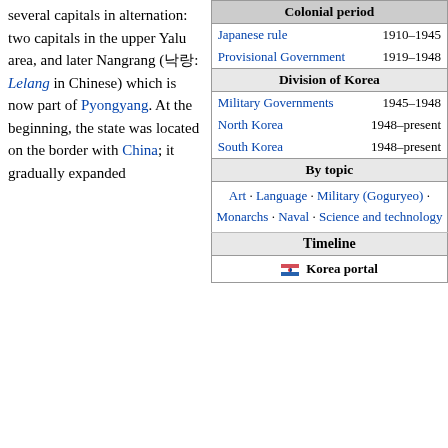several capitals in alternation: two capitals in the upper Yalu area, and later Nangrang (낙랑: Lelang in Chinese) which is now part of Pyongyang. At the beginning, the state was located on the border with China; it gradually expanded
| Colonial period |
| Japanese rule | 1910–1945 |
| Provisional Government | 1919–1948 |
| Division of Korea |
| Military Governments | 1945–1948 |
| North Korea | 1948–present |
| South Korea | 1948–present |
| By topic |
| Art · Language · Military (Goguryeo) · Monarchs · Naval · Science and technology |
| Timeline |
| 🇰🇷 Korea portal |
[Figure (photo): Goguryeo tomb mural showing a hunting scene with figures on horseback and deer]
Goguryeo tomb mural
into Manchuria and destroyed the Chinese Lelang commandery in 313. The cultural influence of the Chinese continued as Buddhism was adopted as the official religion in 372.